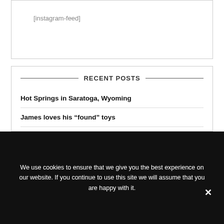[instagram-feed]
RECENT POSTS
Hot Springs in Saratoga, Wyoming
James loves his “found” toys
Cottonwood – The Wyoming State Tree
James the lap dog
We use cookies to ensure that we give you the best experience on our website. If you continue to use this site we will assume that you are happy with it.